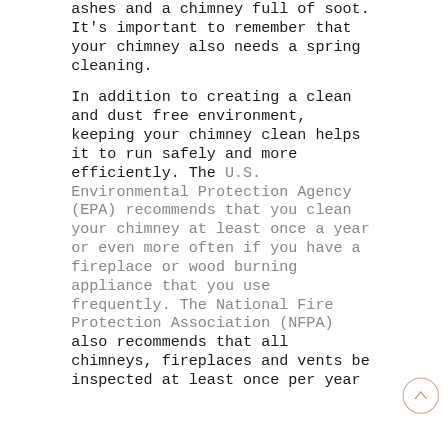ashes and a chimney full of soot.  It's important to remember that your chimney also needs a spring cleaning.
In addition to creating a clean and dust free environment, keeping your chimney clean helps it to run safely and more efficiently.  The U.S. Environmental Protection Agency (EPA) recommends that you clean your chimney at least once a year or even more often if you have a fireplace or wood burning appliance that you use frequently.  The National Fire Protection Association (NFPA)  also recommends that all chimneys, fireplaces and vents be inspected at least once per year